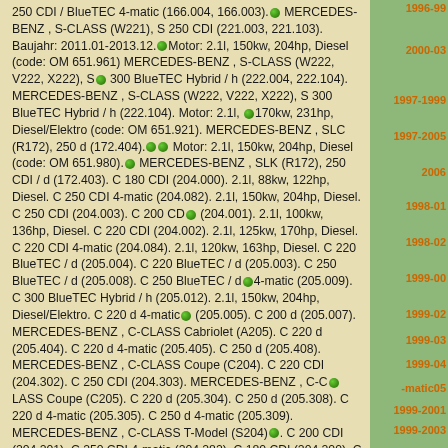250 CDI / BlueTEC 4-matic (166.004, 166.003). MERCEDES-BENZ , S-CLASS (W221), S 250 CDI (221.003, 221.103). Baujahr: 2011.01-2013.12. Motor: 2.1l, 150kw, 204hp, Diesel (code: OM 651.961) MERCEDES-BENZ , S-CLASS (W222, V222, X222), S 300 BlueTEC Hybrid / h (222.004, 222.104). MERCEDES-BENZ , S-CLASS (W222, V222, X222), S 300 BlueTEC Hybrid / h (222.104). Motor: 2.1l, 170kw, 231hp, Diesel/Elektro (code: OM 651.921). MERCEDES-BENZ , SLC (R172), 250 d (172.404). Motor: 2.1l, 150kw, 204hp, Diesel (code: OM 651.980). MERCEDES-BENZ , SLK (R172), 250 CDI / d (172.403). C 180 CDI (204.000). 2.1l, 88kw, 122hp, Diesel. C 250 CDI 4-matic (204.082). 2.1l, 150kw, 204hp, Diesel. C 250 CDI (204.003). C 200 CDI (204.001). 2.1l, 100kw, 136hp, Diesel. C 220 CDI (204.002). 2.1l, 125kw, 170hp, Diesel. C 220 CDI 4-matic (204.084). 2.1l, 120kw, 163hp, Diesel. C 220 BlueTEC / d (205.004). C 220 BlueTEC / d (205.003). C 250 BlueTEC / d (205.008). C 250 BlueTEC / d 4-matic (205.009). C 300 BlueTEC Hybrid / h (205.012). 2.1l, 150kw, 204hp, Diesel/Elektro. C 220 d 4-matic (205.005). C 200 d (205.007). MERCEDES-BENZ , C-CLASS Cabriolet (A205). C 220 d (205.404). C 220 d 4-matic (205.405). C 250 d (205.408). MERCEDES-BENZ , C-CLASS Coupe (C204). C 220 CDI (204.302). C 250 CDI (204.303). MERCEDES-BENZ , C-CLASS Coupe (C205). C 220 d (205.304). C 250 d (205.308). C 220 d 4-matic (205.305). C 250 d 4-matic (205.309). MERCEDES-BENZ , C-CLASS T-Model (S204). C 200 CDI (204.201). C 250 CDI 4-matic (204.282). C 180 CDI (204.200). C 250 CDI (204.203). C 220 CDI (204.202). C 220 CDI 4-matic (204.284). MERCEDES-